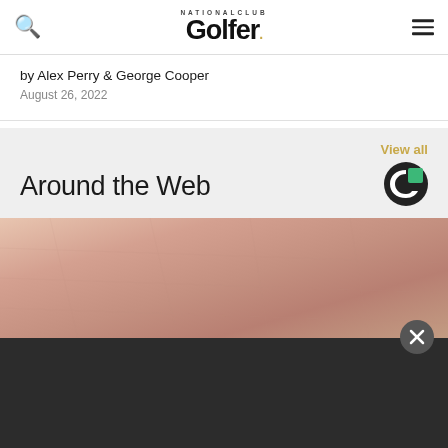National Club Golfer
by Alex Perry & George Cooper
August 26, 2022
View all
Around the Web
[Figure (photo): Close-up photo of human skin, reddish tone, occupying the lower portion of the page]
[Figure (logo): Taboola circular logo with dark circle and green square accent, white C shape inside]